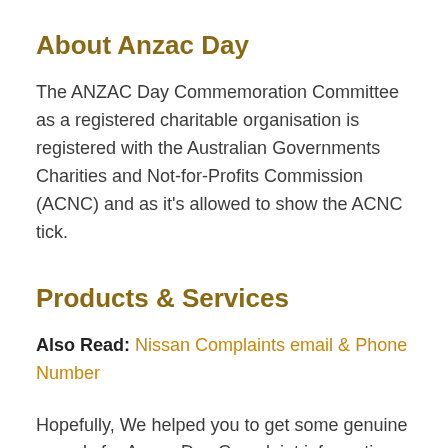About Anzac Day
The ANZAC Day Commemoration Committee as a registered charitable organisation is registered with the Australian Governments Charities and Not-for-Profits Commission (ACNC) and as it's allowed to show the ACNC tick.
Products & Services
Also Read: Nissan Complaints email & Phone Number
Hopefully, We helped you to get some genuine records for Anzac Day Complaint information